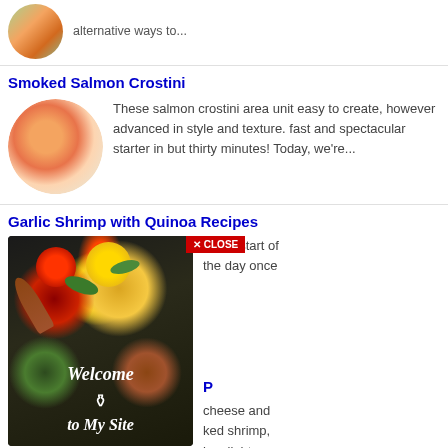alternative ways to...
Smoked Salmon Crostini
These salmon crostini area unit easy to create, however advanced in style and texture. fast and spectacular starter in but thirty minutes! Today, we're...
Garlic Shrimp with Quinoa Recipes
at the start of the day once
[Figure (screenshot): Welcome to My Site spice/herb themed promotional image with dark background and various colorful spices in wooden spoons]
P
cheese and ked shrimp, he slight